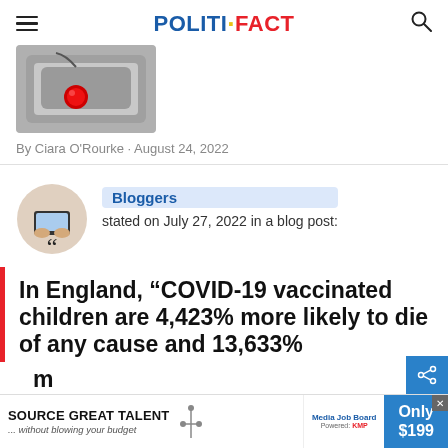POLITIFACT
[Figure (photo): Gray device with a red button, partially visible at top of article]
By Ciara O'Rourke · August 24, 2022
Bloggers
stated on July 27, 2022 in a blog post:
In England, “COVID-19 vaccinated children are 4,423% more likely to die of any cause and 13,633%
[Figure (infographic): Advertisement banner: SOURCE GREAT TALENT ...without blowing your budget | Media Job Board | Only $199]